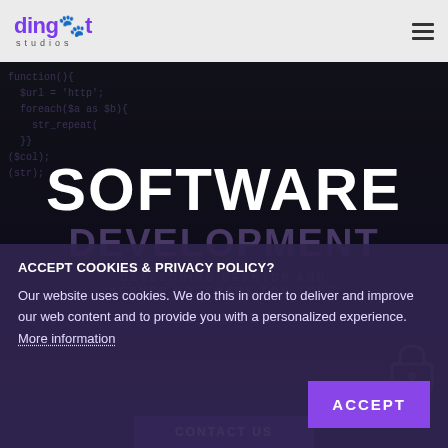[Figure (logo): Dingbat Studios logo with purple text and orange paw print accent, with hamburger menu icon on the right]
SOFTWARE DEVELOPMENT
DEVELOPING DESKTOP AND SERVER SOFTWARE FOR YOUR BUSINESS
ACCEPT COOKIES & PRIVACY POLICY?
Our website uses cookies. We do this in order to deliver and improve our web content and to provide you with a personalized experience. More information
ACCEPT
CONTACT US